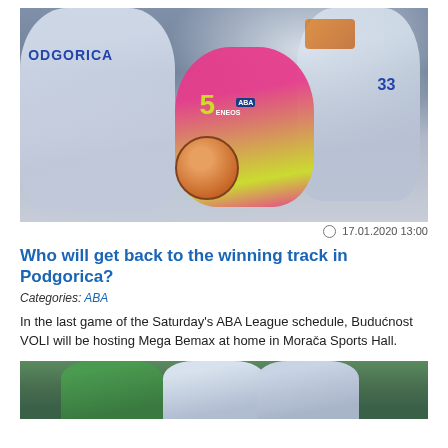[Figure (photo): Basketball game photo showing a player in pink/neon jersey number 5 (ENEOS/ABA) holding a ball, flanked by players in white jerseys, one reading PODGORICA]
17.01.2020 13:00
Who will get back to the winning track in Podgorica?
Categories: ABA
In the last game of the Saturday’s ABA League schedule, Budoćnost VOLI will be hosting Mega Bemax at home in Morača Sports Hall.
[Figure (photo): Bottom partial photo showing basketball players in green and white jerseys]